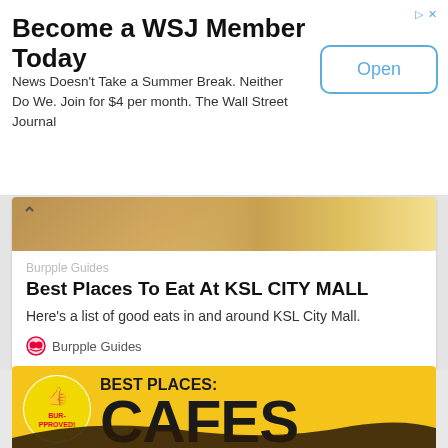Become a WSJ Member Today
News Doesn't Take a Summer Break. Neither Do We. Join for $4 per month. The Wall Street Journal
[Figure (screenshot): Partial food image at top of article card - brown/beige tones, looks like food packaging or container]
Burpple Guides
Best Places To Eat At KSL CITY MALL
Here's a list of good eats in and around KSL City Mall.
Burpple Guides
[Figure (illustration): Yellow promotional banner reading BEST PLACES: CAFES with BUR-PPROVED badge/logo featuring a thumbs up]